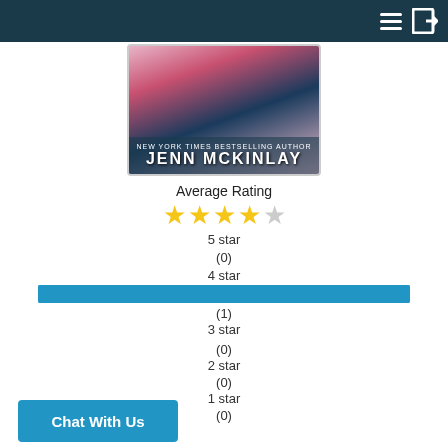Navigation header with hamburger menu and login icon
[Figure (illustration): Book cover for Jenn McKinlay with floral/party background showing author name 'JENN MCKINLAY']
Average Rating
[Figure (infographic): 4 filled yellow stars and 1 empty star representing average rating]
5 star
(0)
4 star
[Figure (bar-chart): Star rating distribution]
(1)
3 star
(0)
2 star
(0)
1 star
(0)
Chat With Us